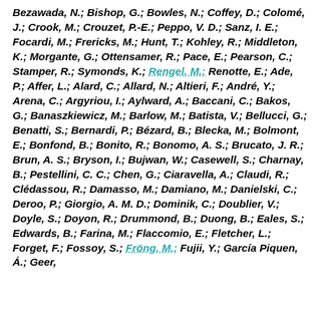Bezawada, N.; Bishop, G.; Bowles, N.; Coffey, D.; Colomé, J.; Crook, M.; Crouzet, P.-E.; Peppo, V. D.; Sanz, I. E.; Focardi, M.; Frericks, M.; Hunt, T.; Kohley, R.; Middleton, K.; Morgante, G.; Ottensamer, R.; Pace, E.; Pearson, C.; Stamper, R.; Symonds, K.; Rengel, M.; Renotte, E.; Ade, P.; Affer, L.; Alard, C.; Allard, N.; Altieri, F.; André, Y.; Arena, C.; Argyriou, I.; Aylward, A.; Baccani, C.; Bakos, G.; Banaszkiewicz, M.; Barlow, M.; Batista, V.; Bellucci, G.; Benatti, S.; Bernardi, P.; Bézard, B.; Blecka, M.; Bolmont, E.; Bonfond, B.; Bonito, R.; Bonomo, A. S.; Brucato, J. R.; Brun, A. S.; Bryson, I.; Bujwan, W.; Casewell, S.; Charnay, B.; Pestellini, C. C.; Chen, G.; Ciaravella, A.; Claudi, R.; Clédassou, R.; Damasso, M.; Damiano, M.; Danielski, C.; Deroo, P.; Giorgio, A. M. D.; Dominik, C.; Doublier, V.; Doyle, S.; Doyon, R.; Drummond, B.; Duong, B.; Eales, S.; Edwards, B.; Farina, M.; Flaccomio, E.; Fletcher, L.; Forget, F.; Fossoy, S.; Fröng, M.; Fujii, Y.; García Piquen, Á.; Geer,